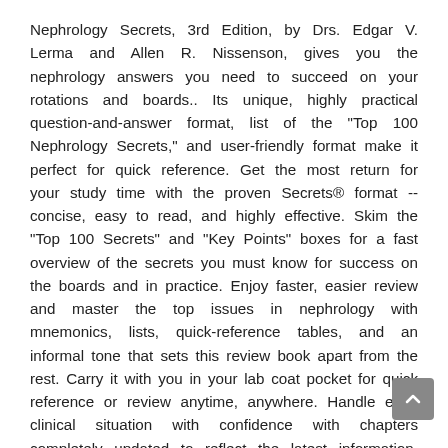Nephrology Secrets, 3rd Edition, by Drs. Edgar V. Lerma and Allen R. Nissenson, gives you the nephrology answers you need to succeed on your rotations and boards.. Its unique, highly practical question-and-answer format, list of the "Top 100 Nephrology Secrets," and user-friendly format make it perfect for quick reference. Get the most return for your study time with the proven Secrets® format -- concise, easy to read, and highly effective. Skim the "Top 100 Secrets" and "Key Points" boxes for a fast overview of the secrets you must know for success on the boards and in practice. Enjoy faster, easier review and master the top issues in nephrology with mnemonics, lists, quick-reference tables, and an informal tone that sets this review book apart from the rest. Carry it with you in your lab coat pocket for quick reference or review anytime, anywhere. Handle each clinical situation with confidence with chapters completely updated to reflect the latest information. Find the answers you need faster thanks to a new...